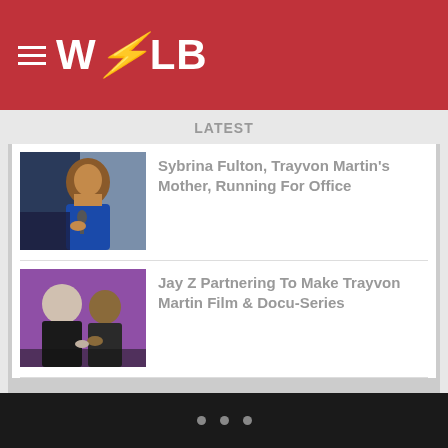WOLB - hamburger menu logo
LATEST
[Figure (photo): Photo of Sybrina Fulton speaking into a microphone, wearing a blue outfit]
Sybrina Fulton, Trayvon Martin's Mother, Running For Office
[Figure (photo): Photo of Jay Z and another person seated on stage]
Jay Z Partnering To Make Trayvon Martin Film & Docu-Series